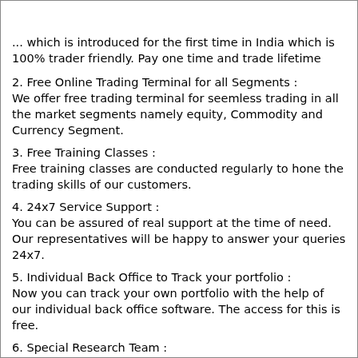... which is introduced for the first time in India which is 100% trader friendly. Pay one time and trade lifetime
2. Free Online Trading Terminal for all Segments : We offer free trading terminal for seemless trading in all the market segments namely equity, Commodity and Currency Segment.
3. Free Training Classes : Free training classes are conducted regularly to hone the trading skills of our customers.
4. 24x7 Service Support : You can be assured of real support at the time of need. Our representatives will be happy to answer your queries 24x7.
5. Individual Back Office to Track your portfolio : Now you can track your own portfolio with the help of our individual back office software. The access for this is free.
6. Special Research Team : We have a team of highly professional research experts to guide you better with crystal clear research reports.
7. Client Payout on same day : You can withdraw your funds at your convenience and the payout